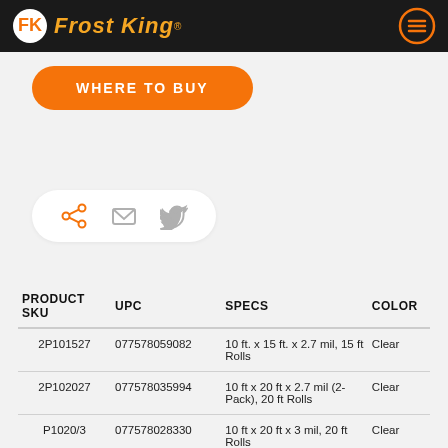Frost King
WHERE TO BUY
[Figure (other): Social share icons row: share (orange), email, Twitter]
| PRODUCT SKU | UPC | SPECS | COLOR |
| --- | --- | --- | --- |
| 2P101527 | 077578059082 | 10 ft. x 15 ft. x 2.7 mil, 15 ft Rolls | Clear |
| 2P102027 | 077578035994 | 10 ft x 20 ft x 2.7 mil (2-Pack), 20 ft Rolls | Clear |
| P1020/3 | 077578028330 | 10 ft x 20 ft x 3 mil, 20 ft Rolls | Clear |
| P1020/3B | 077578028347 | 10 ft x 20 ft x 3 mil, 20 ft Rolls | Black |
| P1025225 | 077578052762 | 10 ft x 25 ft x 2.25 mil, 25 ft Rolls | Clear |